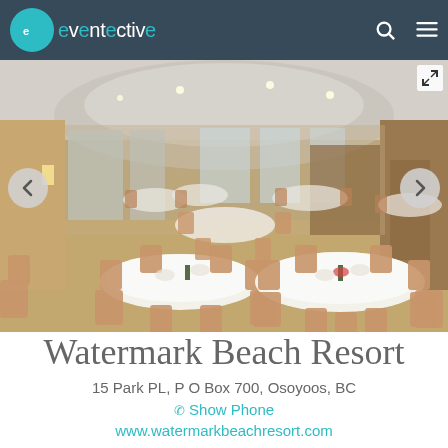eventective
[Figure (photo): Interior photo of Watermark Beach Resort banquet hall set with round tables covered in white tablecloths and tan/brown chairs, with ornate ceiling and warm lighting]
Watermark Beach Resort
15 Park PL, P O Box 700, Osoyoos, BC
Show Phone
www.watermarkbeachresort.com